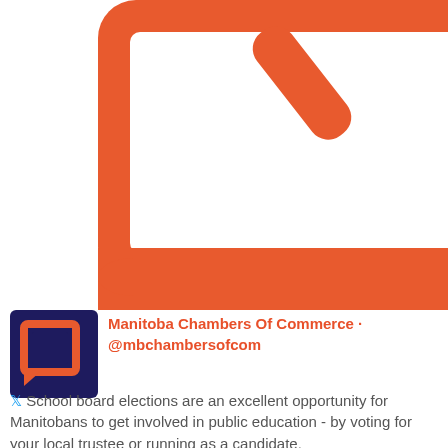[Figure (illustration): Orange ballot box / clipboard icon with a checkmark/pen on white background, orange thick border with rounded corners]
Manitoba Chambers Of Commerce · @mbchambersofcom
School board elections are an excellent opportunity for Manitobans to get involved in public education - by voting for your local trustee or running as a candidate.

Find more info from @MBSchoolBoards at https://t.co/5r4UfACS7a #MCCMemberNews https://t.co/4RE4n9aYZj